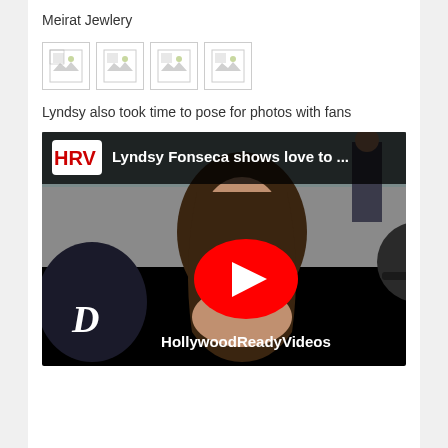Meirat Jewlery
[Figure (photo): Four broken/missing image placeholders in a row]
Lyndsy also took time to pose for photos with fans
[Figure (screenshot): YouTube video thumbnail showing Lyndsy Fonseca with fans, HRV channel, title: Lyndsy Fonseca shows love to ..., watermark: HollywoodReadyVideos]